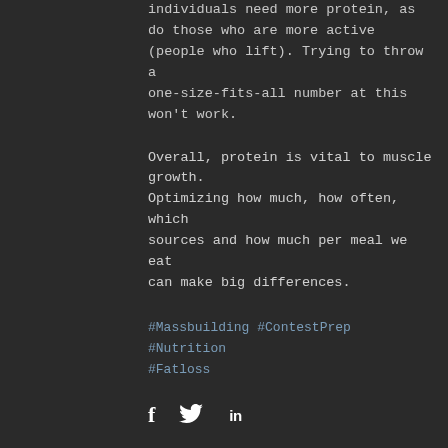individuals need more protein, as do those who are more active (people who lift). Trying to throw a one-size-fits-all number at this won't work.
Overall, protein is vital to muscle growth. Optimizing how much, how often, which sources and how much per meal we eat can make big differences.
#Massbuilding #ContestPrep #Nutrition #Fatloss
[Figure (infographic): Social share icons: Facebook (f), Twitter (bird), LinkedIn (in)]
Featured Posts